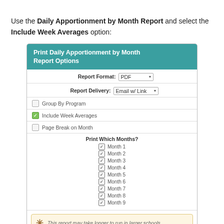Use the Daily Apportionment by Month Report and select the Include Week Averages option:
[Figure (screenshot): Dialog box titled 'Print Daily Apportionment by Month Report Options' with fields for Report Format (PDF), Report Delivery (Email w/ Link), checkboxes for Group By Program (unchecked), Include Week Averages (checked, green), Page Break on Month (unchecked), a list of checked months (Month 1 through Month 9), a warning note, and a Run Report button.]